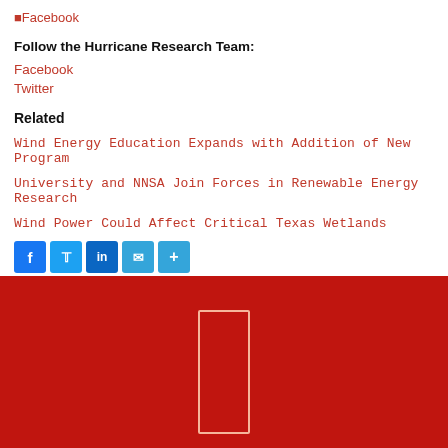Facebook
Follow the Hurricane Research Team:
Facebook
Twitter
Related
Wind Energy Education Expands with Addition of New Program
University and NNSA Join Forces in Renewable Energy Research
Wind Power Could Affect Critical Texas Wetlands
[Figure (other): Social share buttons: Facebook, Twitter, LinkedIn, Email, Plus/Share]
[Figure (logo): Red footer banner with outlined rectangle logo shape in center]